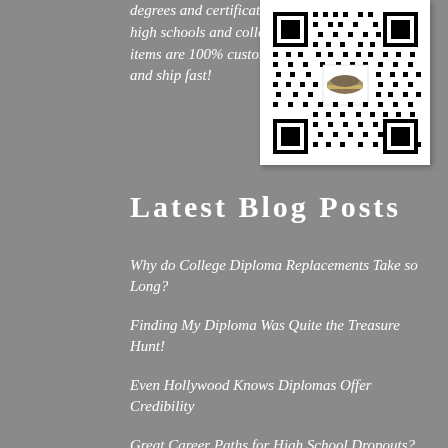degrees and certificates from high schools and colleges! All items are 100% custom made and ship fast!
[Figure (other): QR code with a small image in the center]
Latest Blog Posts
Why do College Diploma Replacements Take so Long?
Finding My Diploma Was Quite the Treasure Hunt!
Even Hollywood Knows Diplomas Offer Credibility
Great Career Paths for High School Dropouts?
Making Smart Decisions When Shopping for Phony Diplomas Online?